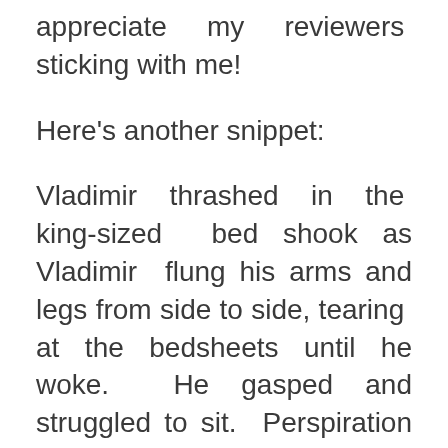appreciate my reviewers sticking with me!
Here's another snippet:
Vladimir thrashed in the king-sized bed shook as Vladimir flung his arms and legs from side to side, tearing at the bedsheets until he woke. He gasped and struggled to sit. Perspiration poured down his face, soaking his bedclothes.